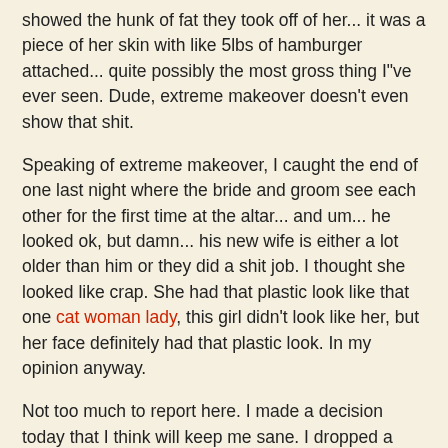showed the hunk of fat they took off of her... it was a piece of her skin with like 5lbs of hamburger attached... quite possibly the most gross thing I"ve ever seen. Dude, extreme makeover doesn't even show that shit.
Speaking of extreme makeover, I caught the end of one last night where the bride and groom see each other for the first time at the altar... and um... he looked ok, but damn... his new wife is either a lot older than him or they did a shit job. I thought she looked like crap. She had that plastic look like that one cat woman lady, this girl didn't look like her, but her face definitely had that plastic look. In my opinion anyway.
Not too much to report here. I made a decision today that I think will keep me sane. I dropped a class. The media class. The pain in the ass 'must have access to a mac' class. (Um, I know noone with a mac, mmkay?) plus, my two classes right now are a lot of work on their own without adding that shit into the mix. Quite frankly I was having a hard time figuring out exactly what needed to be read, done, etc. I hate hate hate when a teacher is vague. My biology class might be extremely demanding but she cuts to the chase and tells